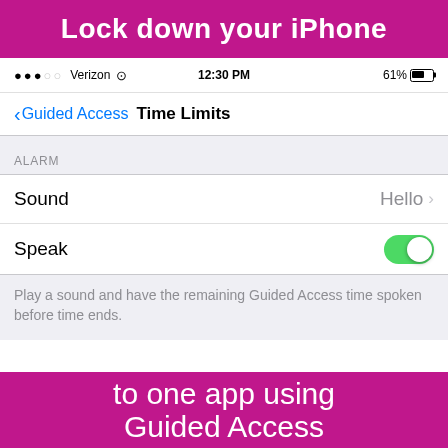Lock down your iPhone
[Figure (screenshot): iOS iPhone screen showing Guided Access Time Limits settings page with status bar (Verizon, 12:30 PM, 61% battery), navigation bar with back button labeled Guided Access and title Time Limits, a gray section labeled ALARM, a Sound row with value Hello and a chevron, a Speak row with a green toggle switch turned on, and a gray footer note reading Play a sound and have the remaining Guided Access time spoken before time ends.]
to one app using
Guided Access